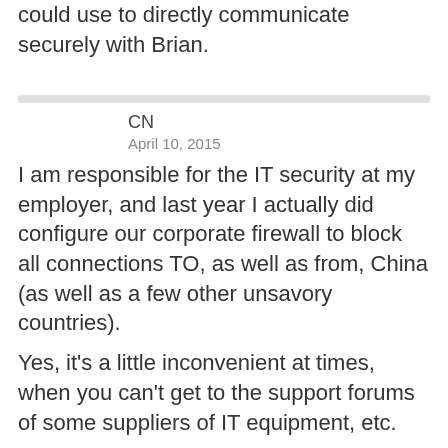could use to directly communicate securely with Brian.
CN
April 10, 2015
I am responsible for the IT security at my employer, and last year I actually did configure our corporate firewall to block all connections TO, as well as from, China (as well as a few other unsavory countries).
Yes, it's a little inconvenient at times, when you can't get to the support forums of some suppliers of IT equipment, etc.
But after discovering that our internet-facing FTP server was suffering from thousands of Chinese attempts per hour to brute-force login, 24/7, enough was enough, and I just cut them off.
Of course, they could use proxies to get around that, but they didn't, and the experience was b...